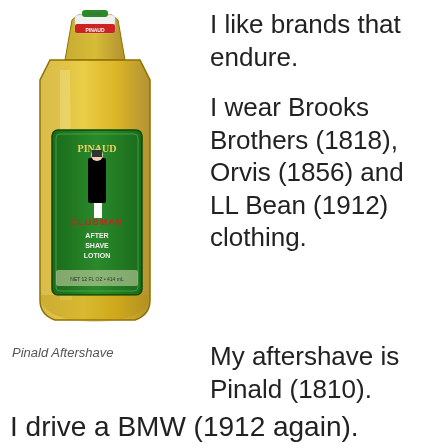[Figure (photo): Bottle of Pinaud Clubman After Shave Lotion with green label featuring a well-dressed man in top hat and tails, amber-colored liquid inside, red and white cap label at top]
Pinald Aftershave
I like brands that endure.
I wear Brooks Brothers (1818), Orvis (1856) and LL Bean (1912) clothing.
My aftershave is Pinald (1810).
I drive a BMW (1912 again).